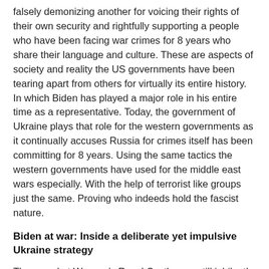falsely demonizing another for voicing their rights of their own security and rightfully supporting a people who have been facing war crimes for 8 years who share their language and culture. These are aspects of society and reality the US governments have been tearing apart from others for virtually its entire history. In which Biden has played a major role in his entire time as a representative. Today, the government of Ukraine plays that role for the western governments as it continually accuses Russia for crimes itself has been committing for 8 years. Using the same tactics the western governments have used for the middle east wars especially. With the help of terrorist like groups just the same. Proving who indeeds hold the fascist nature.
Biden at war: Inside a deliberate yet impulsive Ukraine strategy
The crowd at Warsaw's Royal Castle was still jubilantly waving Polish and American flags when President Biden's aides realized they had a problem.